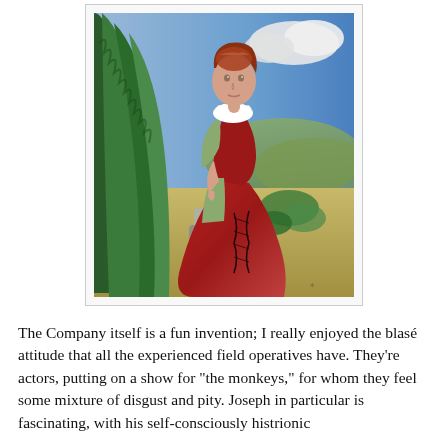[Figure (illustration): Digital illustration of a woman in Renaissance-era red dress with white ruff collar and auburn hair, seated outdoors on a stone ledge, with green cypress trees on the left and a landscape with hills and sky in the background.]
The Company itself is a fun invention; I really enjoyed the blasé attitude that all the experienced field operatives have. They're actors, putting on a show for "the monkeys," for whom they feel some mixture of disgust and pity. Joseph in particular is fascinating, with his self-consciously histrionic